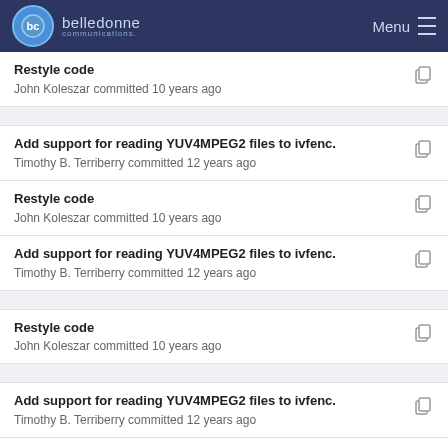belledonne communications — Menu
Restyle code
John Koleszar committed 10 years ago
Add support for reading YUV4MPEG2 files to ivfenc.
Timothy B. Terriberry committed 12 years ago
Restyle code
John Koleszar committed 10 years ago
Add support for reading YUV4MPEG2 files to ivfenc.
Timothy B. Terriberry committed 12 years ago
Restyle code
John Koleszar committed 10 years ago
Add support for reading YUV4MPEG2 files to ivfenc.
Timothy B. Terriberry committed 12 years ago